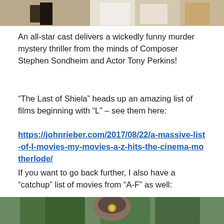[Figure (photo): Partial photo of people in various outfits, cropped at top of page]
An all-star cast delivers a wickedly funny murder mystery thriller from the minds of Composer Stephen Sondheim and Actor Tony Perkins!
“The Last of Shiela” heads up an amazing list of films beginning with “L” – see them here:
https://johnrieber.com/2017/08/22/a-massive-list-of-l-movies-my-movies-a-z-hits-the-cinema-motherlode/
If you want to go back further, I also have a “catchup” list of movies from “A-F” as well:
[Figure (photo): Person wearing a fur hat with a star badge, standing in front of snow-covered fir trees]